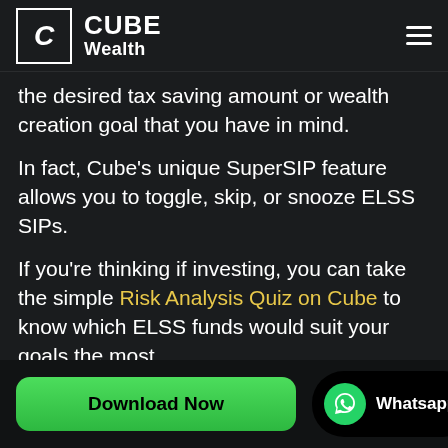CUBE Wealth
the desired tax saving amount or wealth creation goal that you have in mind.
In fact, Cube's unique SuperSIP feature allows you to toggle, skip, or snooze ELSS SIPs.
If you're thinking if investing, you can take the simple Risk Analysis Quiz on Cube to know which ELSS funds would suit your goals the most.